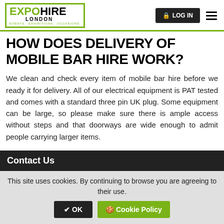[Figure (logo): Expo Hire London logo with green bracket borders and tagline EVENTS · EXHIBITIONS · OCCASIONS]
HOW DOES DELIVERY OF MOBILE BAR HIRE WORK?
We clean and check every item of mobile bar hire before we ready it for delivery. All of our electrical equipment is PAT tested and comes with a standard three pin UK plug. Some equipment can be large, so please make sure there is ample access without steps and that doorways are wide enough to admit people carrying larger items.
Contact Us
This site uses cookies. By continuing to browse you are agreeing to their use.